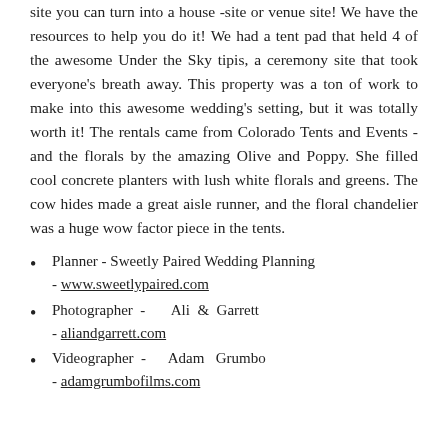site you can turn into a house -site or venue site! We have the resources to help you do it! We had a tent pad that held 4 of the awesome Under the Sky tipis, a ceremony site that took everyone's breath away. This property was a ton of work to make into this awesome wedding's setting, but it was totally worth it! The rentals came from Colorado Tents and Events - and the florals by the amazing Olive and Poppy. She filled cool concrete planters with lush white florals and greens. The cow hides made a great aisle runner, and the floral chandelier was a huge wow factor piece in the tents.
Planner - Sweetly Paired Wedding Planning - www.sweetlypaired.com
Photographer - Ali & Garrett - aliandgarrett.com
Videographer - Adam Grumbo - adamgrumbofilms.com